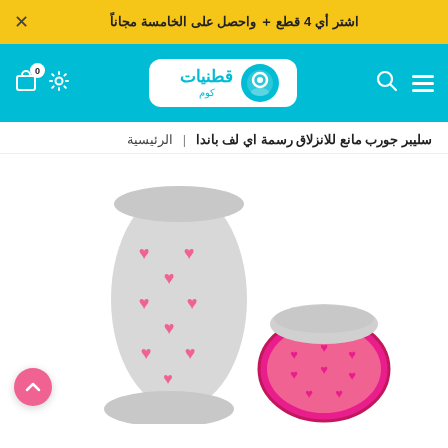اشتر أي 4 قطع ＋ واحصل على الخامسة مجاناً
[Figure (logo): قطنيات كوم logo on teal header with hamburger menu, search, settings and cart icons]
الرئيسية | سليبر جورب مانع للانزلاق رسمة اي لف باندا
[Figure (photo): Two anti-slip gripper slipper socks shown: left sock is gray with pink heart pattern, right shows the pink rubbery non-slip sole with heart texture.]